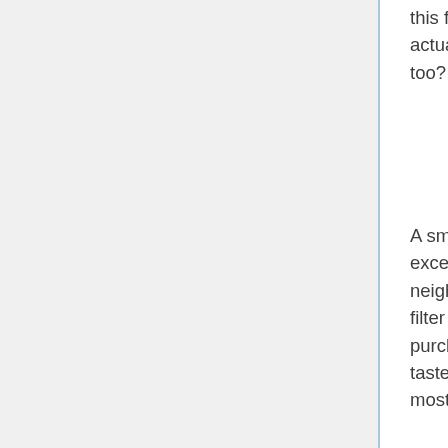this following concept is overkill-- and lots of folks mistake. Coffee is actually 98% water, thus don't you think your water should sample great too?
A small amount of minerals in your water helps highlight the flavor, but excessive, as well as you'll end up along with a dull, sluggish brew. If your neighborhood water system is actually "challenging", you'll would like to filter your water. This is the complication most individuals possess who purchase beans coming from a coffeehouse, after that realize they do not taste the same in the home. Cafes make use of unique filtered water, yet most individuals merely make use of tap water.
Regulation # 4: Stay with The Golden